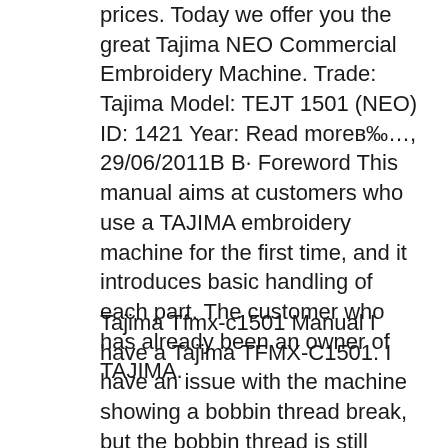prices. Today we offer you the great Tajima NEO Commercial Embroidery Machine. Trade: Tajima Model: TEJT 1501 (NEO) ID: 1421 Year: Read moreвЂ¦, 29/06/2011В В· Foreword This manual aims at customers who use a TAJIMA embroidery machine for the first time, and it introduces basic handling of each part. The customer who has already been an owner of TAJIMA.
Tajima Tfmx-c1501 Manual I have a Tajima TFMX-C1501. I have an issue with the machine showing a bobbin thread break, but the bobbin thread is still Tajima TMFX User Manual User. TFMX II SERIES. МГГQUINAS A Tajima esta presente no mercado brasileiro